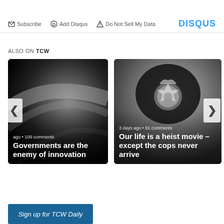Subscribe | Add Disqus | Do Not Sell My Data | DISQUS
ALSO ON TCW
[Figure (photo): Card 1: Black and white abstract curved surface. Text overlay: 'ago • 109 comments'. Title: 'Governments are the enemy of innovation']
[Figure (photo): Card 2: Black and white photo of a British police helmet with badge. Text overlay: '3 days ago • 81 comments'. Title: 'Our life is a heist movie – except the cops never arrive']
Sign up for TCW Daily